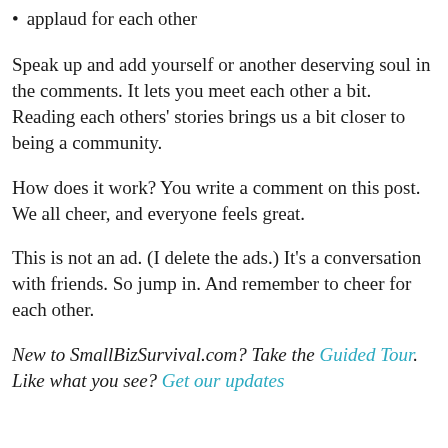applaud for each other
Speak up and add yourself or another deserving soul in the comments. It lets you meet each other a bit. Reading each others’ stories brings us a bit closer to being a community.
How does it work? You write a comment on this post. We all cheer, and everyone feels great.
This is not an ad. (I delete the ads.) It’s a conversation with friends. So jump in. And remember to cheer for each other.
New to SmallBizSurvival.com? Take the Guided Tour. Like what you see? Get our updates